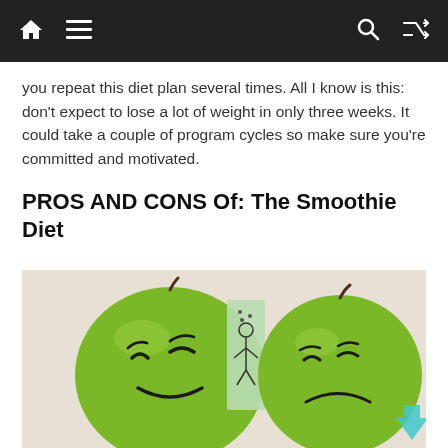Navigation bar with home, menu, search, and shuffle icons
you repeat this diet plan several times. All I know is this: don’t expect to lose a lot of weight in only three weeks. It could take a couple of program cycles so make sure you’re committed and motivated.
PROS AND CONS Of: The Smoothie Diet
[Figure (photo): Two green apples with drawn-on faces — one smiling on the left, one frowning on the right — separated by a small light-green paper note with a drawn stick figure, on a light background.]